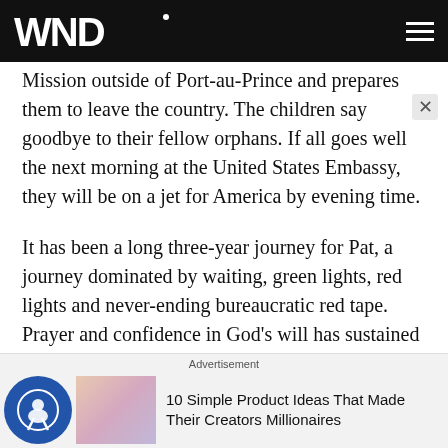WND
Mission outside of Port-au-Prince and prepares them to leave the country. The children say goodbye to their fellow orphans. If all goes well the next morning at the United States Embassy, they will be on a jet for America by evening time.
It has been a long three-year journey for Pat, a journey dominated by waiting, green lights, red lights and never-ending bureaucratic red tape. Prayer and confidence in God's will has sustained his family through this unprecedented emotional roller coaster.
Advertisement
10 Simple Product Ideas That Made Their Creators Millionaires